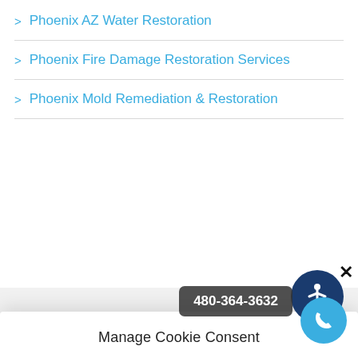Phoenix AZ Water Restoration
Phoenix Fire Damage Restoration Services
Phoenix Mold Remediation & Restoration
Manage Cookie Consent
To provide the best experiences, we use technologies like cookies to store and/or access device information. Consenting to these technologies will allow us to process data such as browsing behavior or unique IDs on this site. Not consenting or withdrawing consent, may adversely affect certain features and functions.
Accept
Cookie Policy
Privacy Policy
480-364-3632